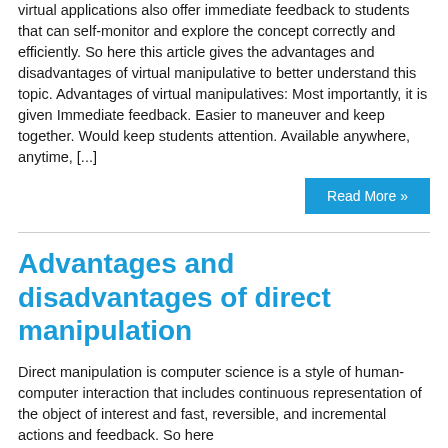virtual applications also offer immediate feedback to students that can self-monitor and explore the concept correctly and efficiently. So here this article gives the advantages and disadvantages of virtual manipulative to better understand this topic. Advantages of virtual manipulatives: Most importantly, it is given Immediate feedback. Easier to maneuver and keep together. Would keep students attention. Available anywhere, anytime, [...]
Read More »
Advantages and disadvantages of direct manipulation
Direct manipulation is computer science is a style of human-computer interaction that includes continuous representation of the object of interest and fast, reversible, and incremental actions and feedback. So here